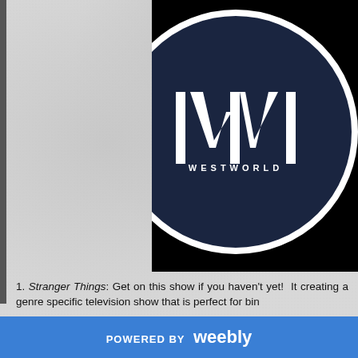[Figure (logo): Westworld TV show logo — dark navy circle with white 'W' lettermark and 'WESTWORLD' text, on black background]
1. Stranger Things: Get on this show if you haven't yet! It creating a genre specific television show that is perfect for bin
2. Luke Cage: I am currently watching this one and so far I
POWERED BY weebly